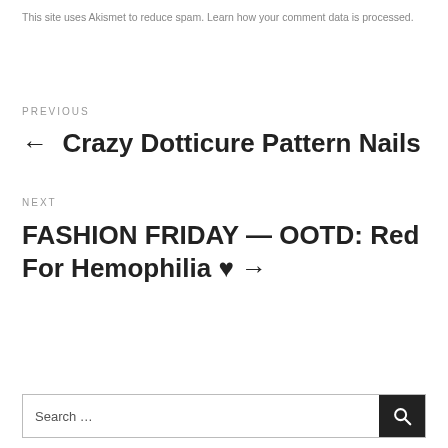This site uses Akismet to reduce spam. Learn how your comment data is processed.
PREVIOUS
← Crazy Dotticure Pattern Nails
NEXT
FASHION FRIDAY — OOTD: Red For Hemophilia ♥ →